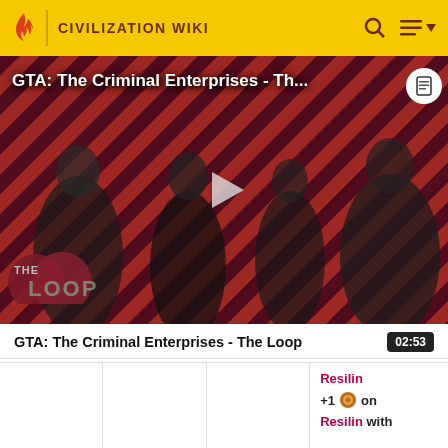CIVILIZATION WIKI
[Figure (screenshot): Video thumbnail for GTA: The Criminal Enterprises - The Loop, showing game characters on a red diagonal striped background with THE LOOP logo overlay and a play button in the center.]
GTA: The Criminal Enterprises - Th...
GTA: The Criminal Enterprises - The Loop
02:53
Resilin
+1 on
Resilin with